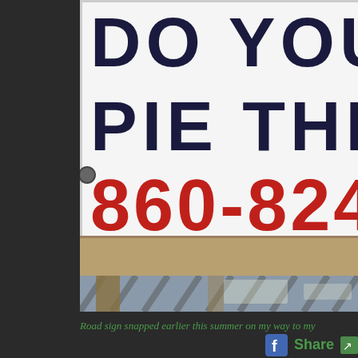[Figure (photo): A close-up photograph of a roadside marquee sign showing text 'DO YOU K' on first line, 'PIE THE' on second line, and '860-824' in red on third line. The sign has white background with dark navy/black letters and red phone number. Sign is mounted on wooden supports with a wood plank ground area below. Dark background on the left side of photo.]
Road sign snapped earlier this summer on my way to my
Share